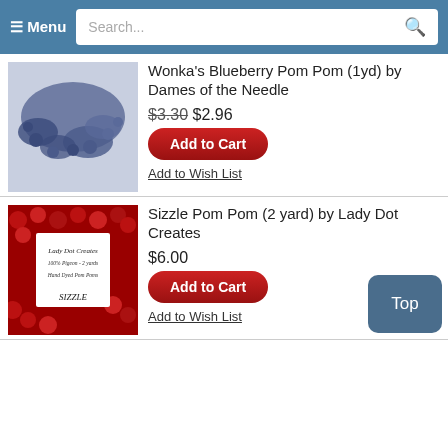☰ Menu  Search...
[Figure (photo): Blue crochet pom pom trim on white background]
Wonka's Blueberry Pom Pom (1yd) by Dames of the Needle
$3.30 $2.96
Add to Cart
Add to Wish List
[Figure (photo): Red pom pom trim with a white label reading Lady Dot Creates, 100% Pigeon, 2 yards, Hand Dyed Pom Poms, SIZZLE]
Sizzle Pom Pom (2 yard) by Lady Dot Creates
$6.00
Add to Cart
Add to Wish List
Top